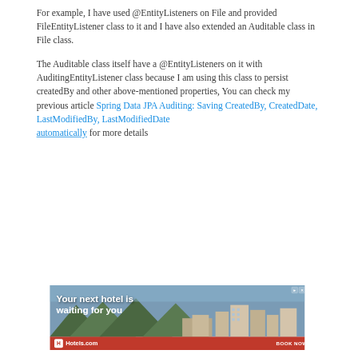For example, I have used @EntityListeners on File and provided FileEntityListener class to it and I have also extended an Auditable class in File class.
The Auditable class itself have a @EntityListeners on it with AuditingEntityListener class because I am using this class to persist createdBy and other above-mentioned properties, You can check my previous article Spring Data JPA Auditing: Saving CreatedBy, CreatedDate, LastModifiedBy, LastModifiedDate automatically for more details
[Figure (other): Advertisement banner for Hotels.com showing a hotel resort with mountains in background. Text reads 'Your next hotel is waiting for you'. Red footer bar with Hotels.com logo and 'BOOK NOW' button.]